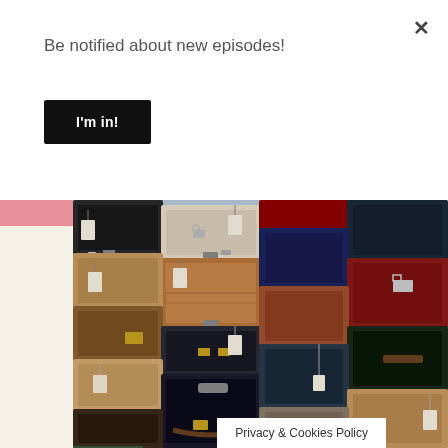×
Be notified about new episodes!
I'm in!
[Figure (photo): A large stack of vintage and modern suitcases and luggage of various colors and sizes piled against a wall, with luggage tags attached. Colors include tan, brown, navy, red, black, and cream.]
Privacy & Cookies Policy